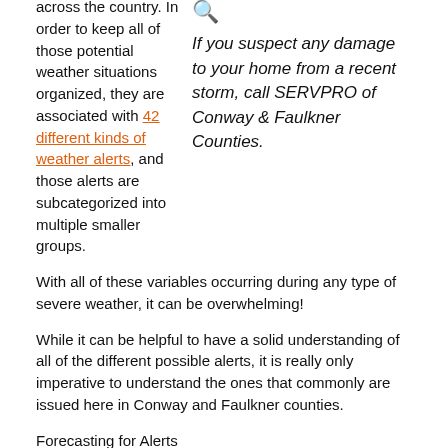across the country. In order to keep all of those potential weather situations organized, they are associated with 42 different kinds of weather alerts, and those alerts are subcategorized into multiple smaller groups.
[Figure (illustration): Orange magnifying glass icon]
If you suspect any damage to your home from a recent storm, call SERVPRO of Conway & Faulkner Counties.
With all of these variables occurring during any type of severe weather, it can be overwhelming!
While it can be helpful to have a solid understanding of all of the different possible alerts, it is really only imperative to understand the ones that commonly are issued here in Conway and Faulkner counties.
Forecasting for Alerts
We all rely on weather forecasting to plan our lives and events, but have you ever wondered how those forecasts are issued in the first place? Since weather forecasts are, at best, educated predictions, meteorologists have to use several factors, their discretion, to determine the appropriate...